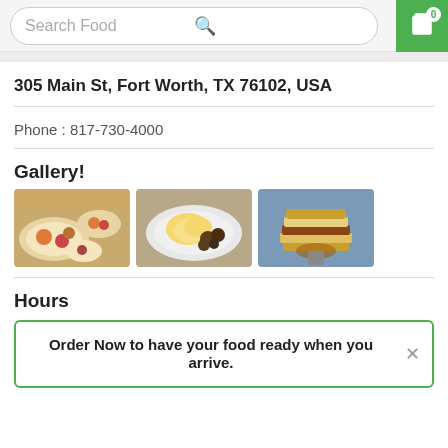Search Food
305 Main St, Fort Worth, TX 76102, USA
Phone : 817-730-4000
Gallery!
[Figure (photo): Three food gallery photos: assorted breakfast plates, scrambled eggs with beans on a plate, and a stacked sandwich held up]
Hours
Order Now to have your food ready when you arrive.